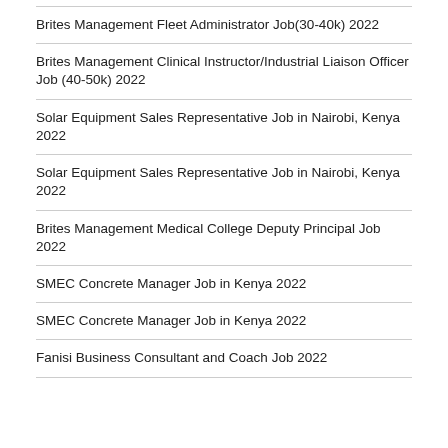Brites Management Fleet Administrator Job(30-40k) 2022
Brites Management Clinical Instructor/Industrial Liaison Officer Job (40-50k) 2022
Solar Equipment Sales Representative Job in Nairobi, Kenya 2022
Solar Equipment Sales Representative Job in Nairobi, Kenya 2022
Brites Management Medical College Deputy Principal Job 2022
SMEC Concrete Manager Job in Kenya 2022
SMEC Concrete Manager Job in Kenya 2022
Fanisi Business Consultant and Coach Job 2022